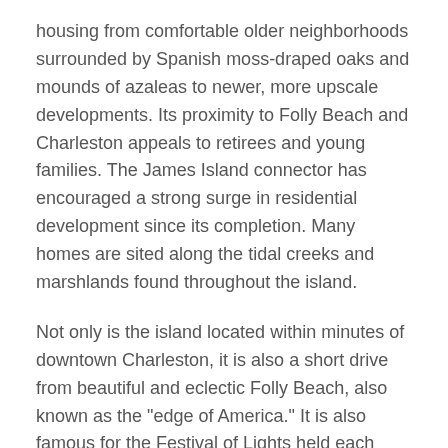housing from comfortable older neighborhoods surrounded by Spanish moss-draped oaks and mounds of azaleas to newer, more upscale developments. Its proximity to Folly Beach and Charleston appeals to retirees and young families. The James Island connector has encouraged a strong surge in residential development since its completion. Many homes are sited along the tidal creeks and marshlands found throughout the island.
Not only is the island located within minutes of downtown Charleston, it is also a short drive from beautiful and eclectic Folly Beach, also known as the "edge of America." It is also famous for the Festival of Lights held each Christmas at the James Island County Park. People come from all over the Lowcountry to see the spectacular light displays and holiday village.